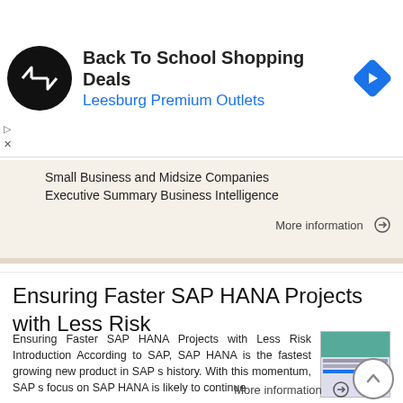[Figure (other): Advertisement banner: Back To School Shopping Deals at Leesburg Premium Outlets, with circular logo and blue navigation diamond icon]
Small Business and Midsize Companies
Executive Summary Business Intelligence
More information →
Ensuring Faster SAP HANA Projects with Less Risk
Ensuring Faster SAP HANA Projects with Less Risk Introduction According to SAP, SAP HANA is the fastest growing new product in SAP s history. With this momentum, SAP s focus on SAP HANA is likely to continue
More information →